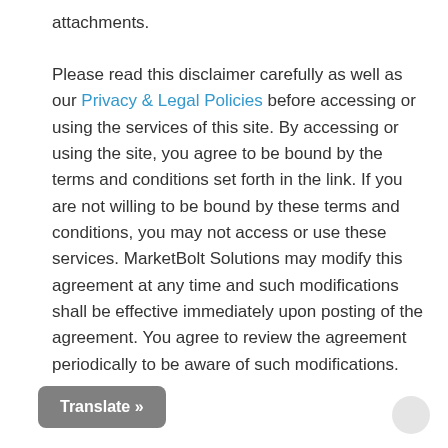attachments.
Please read this disclaimer carefully as well as our Privacy & Legal Policies before accessing or using the services of this site. By accessing or using the site, you agree to be bound by the terms and conditions set forth in the link. If you are not willing to be bound by these terms and conditions, you may not access or use these services. MarketBolt Solutions may modify this agreement at any time and such modifications shall be effective immediately upon posting of the agreement. You agree to review the agreement periodically to be aware of such modifications.
Translate »